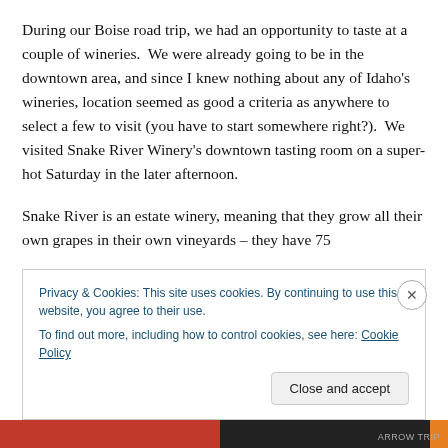During our Boise road trip, we had an opportunity to taste at a couple of wineries.  We were already going to be in the downtown area, and since I knew nothing about any of Idaho's wineries, location seemed as good a criteria as anywhere to select a few to visit (you have to start somewhere right?).  We visited Snake River Winery's downtown tasting room on a super-hot Saturday in the later afternoon.
Snake River is an estate winery, meaning that they grow all their own grapes in their own vineyards – they have 75
Privacy & Cookies: This site uses cookies. By continuing to use this website, you agree to their use.
To find out more, including how to control cookies, see here: Cookie Policy